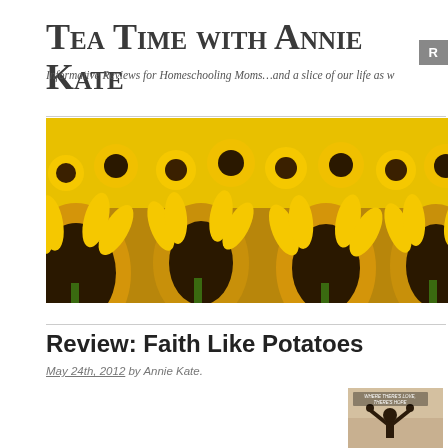Tea Time with Annie Kate
Informative Reviews for Homeschooling Moms…and a slice of our life as w
[Figure (photo): A wide field of sunflowers photographed from close up, showing large yellow sunflower heads filling the entire frame with green stems and leaves visible between them.]
Review: Faith Like Potatoes
May 24th, 2012 by Annie Kate.
[Figure (photo): Movie poster for Faith Like Potatoes showing a person with raised arms and text 'Where There's Love, There's Hope']